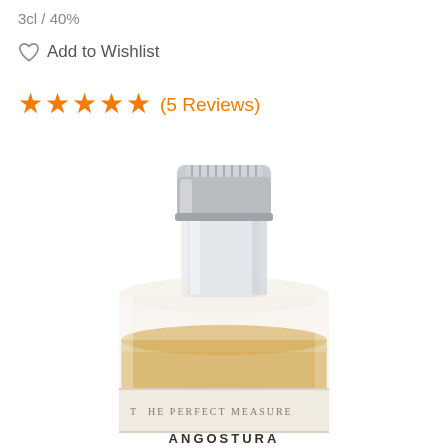3cl / 40%
Add to Wishlist
★★★★★ (5 Reviews)
[Figure (photo): Close-up photo of a small glass bottle with a silver screw cap, containing amber/golden liquid, with a cream-colored label reading 'THE PERFECT MEASURE' and 'ANGOSTURA' at the bottom.]